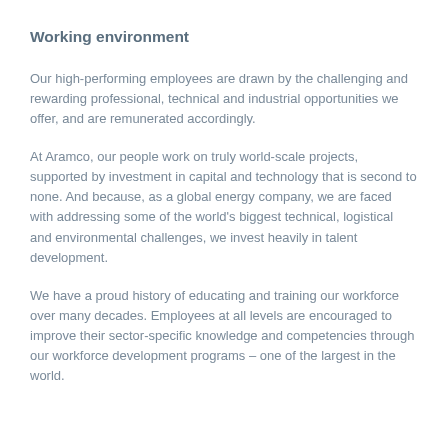Working environment
Our high-performing employees are drawn by the challenging and rewarding professional, technical and industrial opportunities we offer, and are remunerated accordingly.
At Aramco, our people work on truly world-scale projects, supported by investment in capital and technology that is second to none. And because, as a global energy company, we are faced with addressing some of the world's biggest technical, logistical and environmental challenges, we invest heavily in talent development.
We have a proud history of educating and training our workforce over many decades. Employees at all levels are encouraged to improve their sector-specific knowledge and competencies through our workforce development programs – one of the largest in the world.